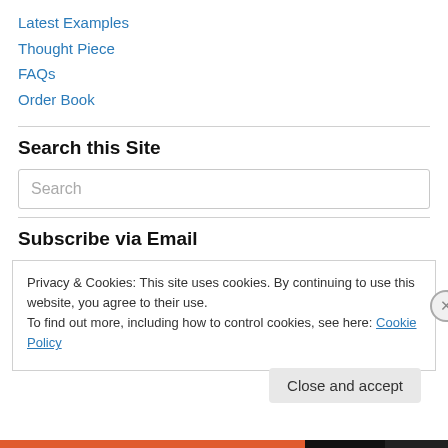Latest Examples
Thought Piece
FAQs
Order Book
Search this Site
Search
Subscribe via Email
Privacy & Cookies: This site uses cookies. By continuing to use this website, you agree to their use.
To find out more, including how to control cookies, see here: Cookie Policy
Close and accept